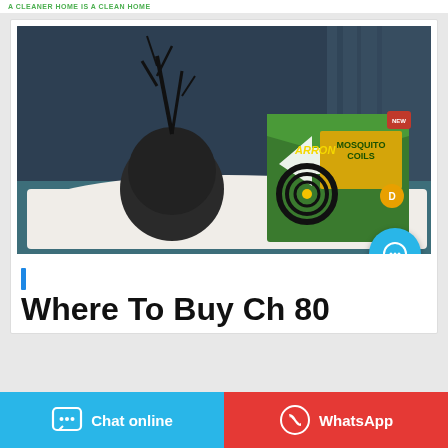A CLEANER HOME IS A CLEAN HOME
[Figure (photo): Product photo of Arrow Mosquito Coils box placed on a white cloth on a teal surface, with a dark decorative branch in the background against a dark blue wall.]
Where To Buy Ch 80